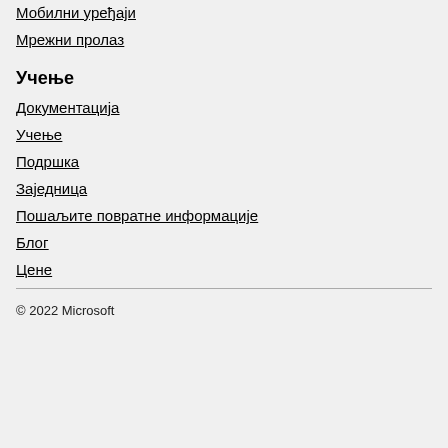Мобилни уређаји
Мрежни пролаз
Учење
Документација
Учење
Подршка
Заједница
Пошаљите повратне информације
Блог
Цене
© 2022 Microsoft